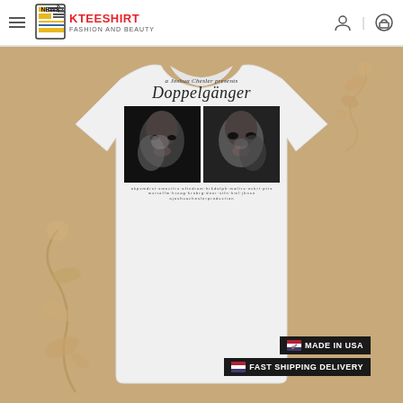[Figure (logo): Kteeshirt logo with NEWS newspaper icon and red KTEESHIRT text, FASHION AND BEAUTY subtitle]
[Figure (photo): E-commerce product page showing a white t-shirt with Doppelganger movie poster graphic printed on it, displayed against a floral beige background. The shirt graphic shows the title 'a Joshua Chesler presents Doppelganger' with two close-up black and white face photos side by side.]
MADE IN USA
FAST SHIPPING DELIVERY